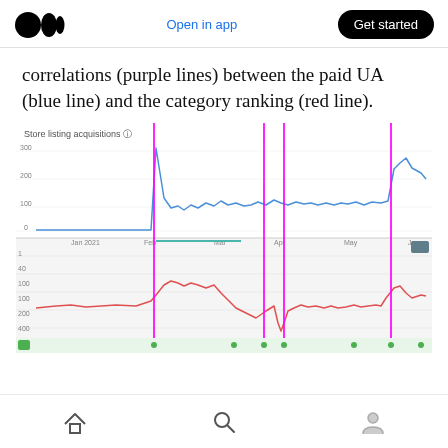Medium — Open in app  Get started
correlations (purple lines) between the paid UA (blue line) and the category ranking (red line).
[Figure (line-chart): A dual-panel line chart showing store listing acquisitions over time (top panel, blue line with a spike near Feb 2021 and another near Jun) and category ranking (bottom panel, red line), with vertical purple lines marking correlation events. Time axis spans Jan 2021 to Jun 2021.]
Home  Search  Profile